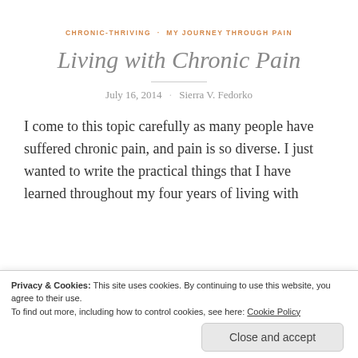CHRONIC-THRIVING · MY JOURNEY THROUGH PAIN
Living with Chronic Pain
July 16, 2014  ·  Sierra V. Fedorko
I come to this topic carefully as many people have suffered chronic pain, and pain is so diverse. I just wanted to write the practical things that I have learned throughout my four years of living with
Privacy & Cookies: This site uses cookies. By continuing to use this website, you agree to their use.
To find out more, including how to control cookies, see here: Cookie Policy
Close and accept